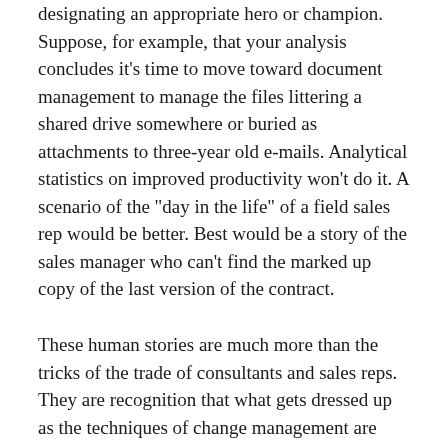designating an appropriate hero or champion. Suppose, for example, that your analysis concludes it's time to move toward document management to manage the files littering a shared drive somewhere or buried as attachments to three-year old e-mails. Analytical statistics on improved productivity won't do it. A scenario of the "day in the life" of a field sales rep would be better. Best would be a story of the sales manager who can't find the marked up copy of the last version of the contract.
These human stories are much more than the tricks of the trade of consultants and sales reps. They are recognition that what gets dressed up as the techniques of change management are really a bridge to the oral thinking needed to provoke action.
Seen in this light, what is typically labeled resistance